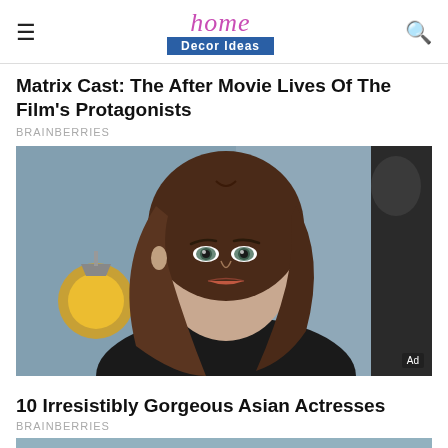home Decor Ideas
Matrix Cast: The After Movie Lives Of The Film's Protagonists
BRAINBERRIES
[Figure (photo): A woman with long brown hair wearing a black choker collar, photographed in a studio-like setting with a lamp in the background. Ad badge visible at bottom right.]
10 Irresistibly Gorgeous Asian Actresses
BRAINBERRIES
[Figure (photo): Partial view of another article's image at the bottom of the page, mostly cropped.]